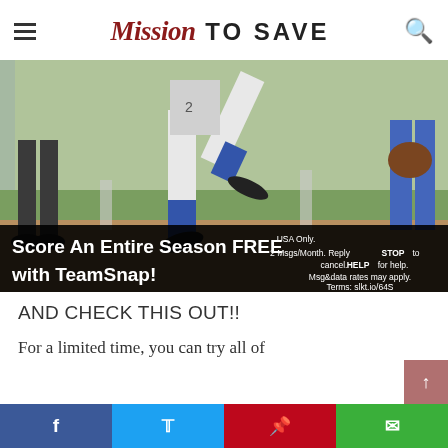Mission TO SAVE
[Figure (photo): Baseball players legs on a field with dirt and grass, showing a pitcher mid-stride and an umpire, with overlay text: 'Score An Entire Season FREE with TeamSnap!' and fine print about USA Only, 2 Msgs/Month, STOP to cancel, HELP, Msg&data rates may apply, Terms: slkt.io/64S]
AND CHECK THIS OUT!!
For a limited time, you can try all of